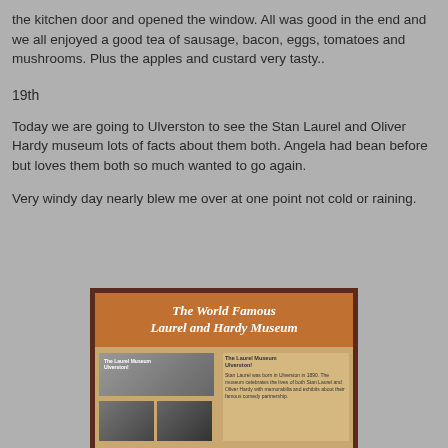the kitchen door and opened the window. All was good in the end and we all enjoyed a good tea of sausage, bacon, eggs, tomatoes and mushrooms. Plus the apples and custard very tasty..
19th
Today we are going to Ulverston to see the Stan Laurel and Oliver Hardy museum lots of facts about them both. Angela had bean before but loves them both so much wanted to go again.
Very windy day nearly blew me over at one point not cold or raining.
[Figure (photo): A sign for The World Famous Laurel and Hardy Museum in a dark wooden frame, with an orange header and a beige/tan lower section showing black and white photos of Laurel and Hardy and text.]